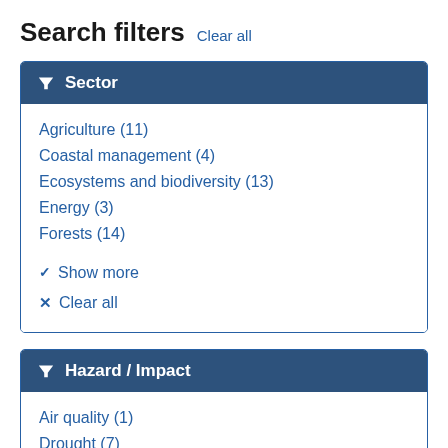Search filters Clear all
Sector
Agriculture (11)
Coastal management (4)
Ecosystems and biodiversity (13)
Energy (3)
Forests (14)
Show more
Clear all
Hazard / Impact
Air quality (1)
Drought (7)
Erosion (2)